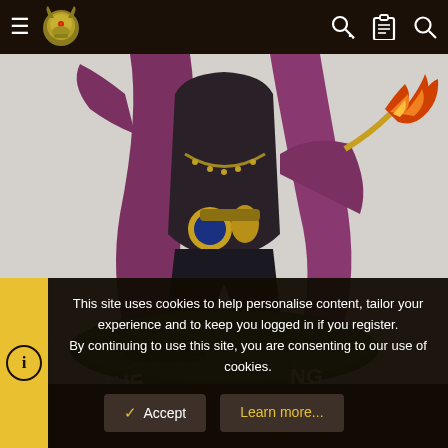Navigation bar with hamburger menu, logo, key icon, clipboard icon, search icon
[Figure (photo): Painted Warhammer-style miniature figure: a warrior character in purple cloak with gold armor details, holding a flaming torch/weapon, standing on a green circular textured base with text 'THE ... NG' painted on the base rim. White/light grey background.]
This site uses cookies to help personalise content, tailor your experience and to keep you logged in if you register.
By continuing to use this site, you are consenting to our use of cookies.
Accept
Learn more...